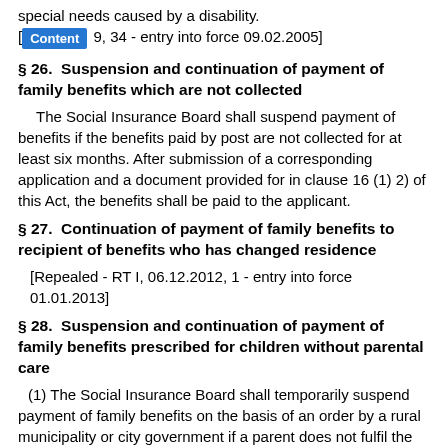special needs caused by a disability.
[RT I 2005/9, 34 - entry into force 09.02.2005]
§ 26.  Suspension and continuation of payment of family benefits which are not collected
The Social Insurance Board shall suspend payment of benefits if the benefits paid by post are not collected for at least six months. After submission of a corresponding application and a document provided for in clause 16 (1) 2) of this Act, the benefits shall be paid to the applicant.
§ 27.  Continuation of payment of family benefits to recipient of benefits who has changed residence
[Repealed - RT I, 06.12.2012, 1 - entry into force 01.01.2013]
§ 28.  Suspension and continuation of payment of family benefits prescribed for children without parental care
(1) The Social Insurance Board shall temporarily suspend payment of family benefits on the basis of an order by a rural municipality or city government if a parent does not fulfil the obligation arising from the Family Law Act to raise a child and to care for him or her.